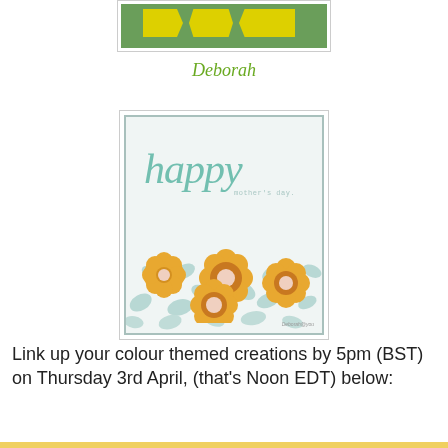[Figure (photo): Partial view of a crafting project showing yellow arrow/tag shapes on a green background, cropped at top of page]
Deborah
[Figure (photo): A handmade greeting card with 'happy mother's day' text in teal script, yellow paper flowers, and teal leaf patterns on a light background]
Link up your colour themed creations by 5pm (BST) on Thursday 3rd April, (that's Noon EDT) below: